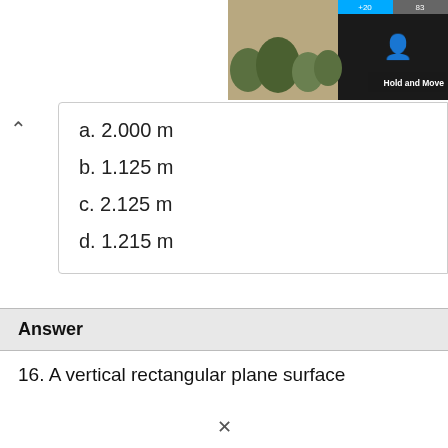[Figure (screenshot): Top-right corner UI screenshot showing trees/nature background with dark panel, blue bar with '+20' and '83' labels, person icons, and 'Hold and Move' text label]
a. 2.000 m
b. 1.125 m
c. 2.125 m
d. 1.215 m
Answer
16. A vertical rectangular plane surface